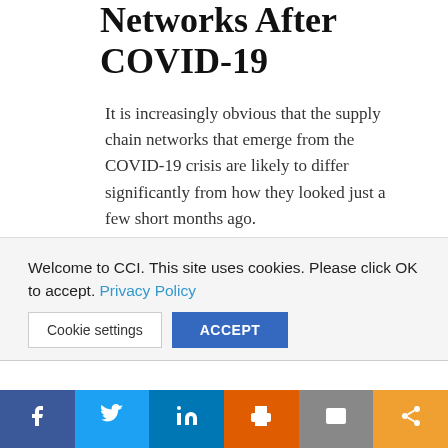Networks After COVID-19
It is increasingly obvious that the supply chain networks that emerge from the COVID-19 crisis are likely to differ significantly from how they looked just a few short months ago.
Many companies will likely no longer exist due to bankruptcy. A wave of bankruptcies and closures are hitting
Welcome to CCI. This site uses cookies. Please click OK to accept. Privacy Policy
Cookie settings   ACCEPT